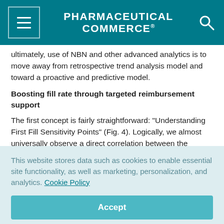PHARMACEUTICAL COMMERCE
ultimately, use of NBN and other advanced analytics is to move away from retrospective trend analysis model and toward a proactive and predictive model.
Boosting fill rate through targeted reimbursement support
The first concept is fairly straightforward: “Understanding First Fill Sensitivity Points” (Fig. 4). Logically, we almost universally observe a direct correlation between the number of days that a script is Pending and the probability that a script converts.
This website stores data such as cookies to enable essential site functionality, as well as marketing, personalization, and analytics. Cookie Policy